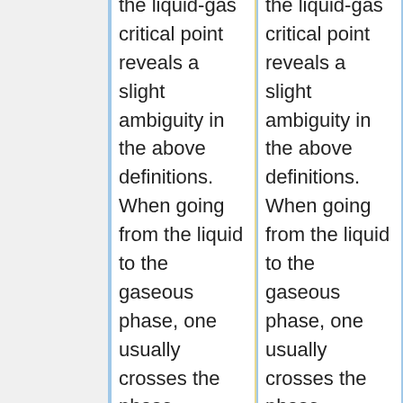the liquid-gas critical point reveals a slight ambiguity in the above definitions. When going from the liquid to the gaseous phase, one usually crosses the phase boundary, but it is possible to choose a path that never crosses the boundary by going to the right of the critical point. Thus, the liquid and gaseous phases can blend continuously into
the liquid-gas critical point reveals a slight ambiguity in the above definitions. When going from the liquid to the gaseous phase, one usually crosses the phase boundary, but it is possible to choose a path that never crosses the boundary by going to the right of the critical point. Thus, the liquid and gaseous phases can blend continuously into